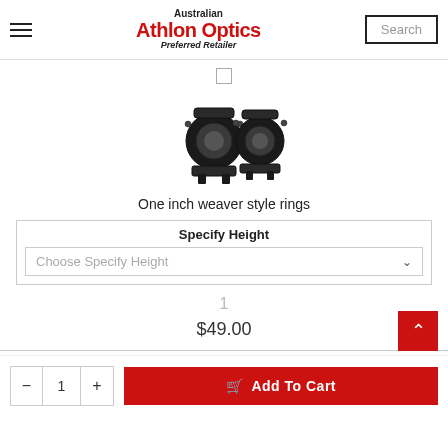Australian Athlon Optics Preferred Retailer
[Figure (photo): Two black scope rings (one inch weaver style rings) shown side by side on white background]
One inch weaver style rings
Specify Height
Choose Specify Height
1
$49.00
Add To Cart